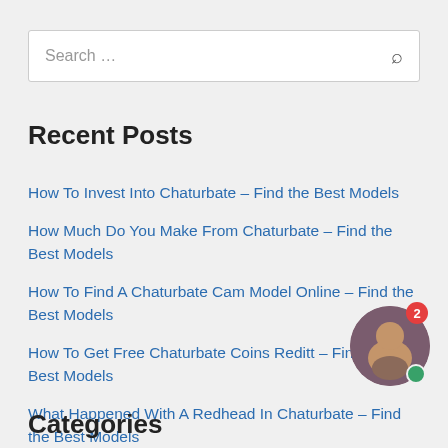Search …
Recent Posts
How To Invest Into Chaturbate – Find the Best Models
How Much Do You Make From Chaturbate – Find the Best Models
How To Find A Chaturbate Cam Model Online – Find the Best Models
How To Get Free Chaturbate Coins Reditt – Find the Best Models
What Happened With A Redhead In Chaturbate – Find the Best Models
Categories